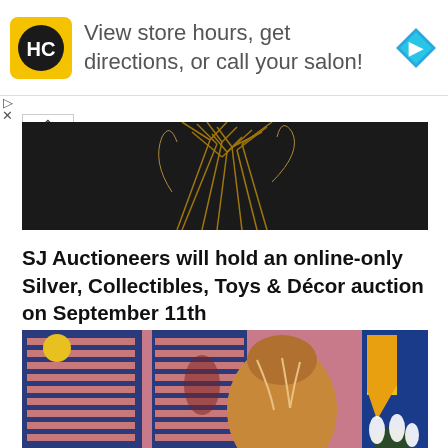[Figure (advertisement): HC logo ad banner: yellow square logo with HC text, ad text 'View store hours, get directions, or call your salon!', blue diamond navigation icon on the right]
[Figure (photo): Dark background image showing dried golden plant stems or branches against black]
SJ Auctioneers will hold an online-only Silver, Collectibles, Toys & Décor auction on September 11th
[Figure (illustration): Colorful illustration of a figure viewed from behind with brown hair, against a purple background with striped blue shutters on the left and blue/yellow geometric shapes on the right with white flowers]